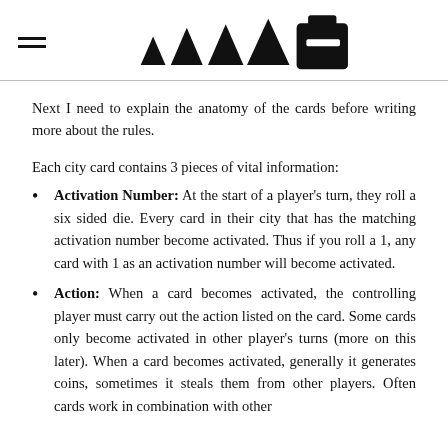≡ [logo: triangles and building icon]
Next I need to explain the anatomy of the cards before writing more about the rules.
Each city card contains 3 pieces of vital information:
Activation Number: At the start of a player's turn, they roll a six sided die. Every card in their city that has the matching activation number become activated. Thus if you roll a 1, any card with 1 as an activation number will become activated.
Action: When a card becomes activated, the controlling player must carry out the action listed on the card. Some cards only become activated in other player's turns (more on this later). When a card becomes activated, generally it generates coins, sometimes it steals them from other players. Often cards work in combination with other